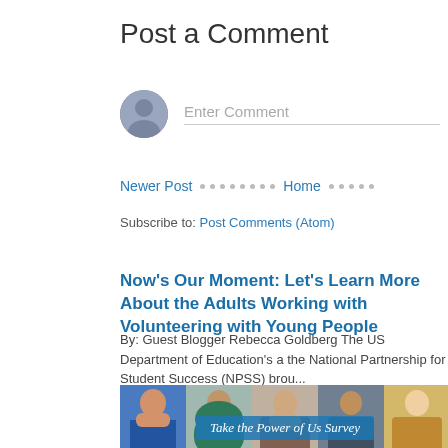Post a Comment
Enter Comment
Newer Post · · · · · · · · · Home · · · · · ·
Subscribe to: Post Comments (Atom)
Now's Our Moment: Let's Learn More About the Adults Working Volunteering with Young People
By: Guest Blogger Rebecca Goldberg The US Department of Education's a... the National Partnership for Student Success (NPSS) brou...
[Figure (photo): Collage of diverse adults and young people portraits with 'Take the Power of Us Survey' text overlay]
Take the Power of Us Survey